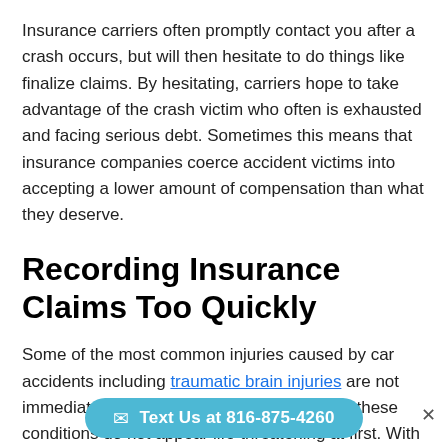Insurance carriers often promptly contact you after a crash occurs, but will then hesitate to do things like finalize claims. By hesitating, carriers hope to take advantage of the crash victim who often is exhausted and facing serious debt. Sometimes this means that insurance companies coerce accident victims into accepting a lower amount of compensation than what they deserve.
Recording Insurance Claims Too Quickly
Some of the most common injuries caused by car accidents including traumatic brain injuries are not immediately visible after car crashes. Often, these conditions do not appear life-threatening at first. With the appreciation that many injuries take time to...